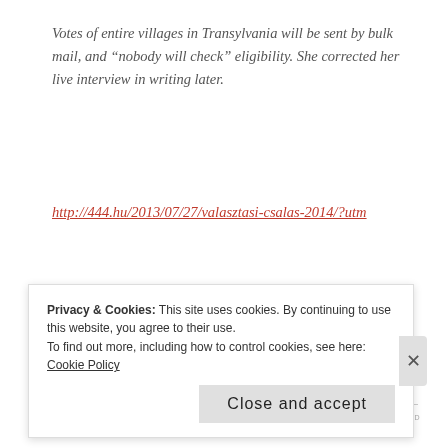Votes of entire villages in Transylvania will be sent by bulk mail, and “nobody will check” eligibility. She corrected her live interview in writing later.
http://444.hu/2013/07/27/valasztasi-csalas-2014/?utm
Yes, I’m collecting material for a future post on the subject
REPORT THIS AD
Privacy & Cookies: This site uses cookies. By continuing to use this website, you agree to their use.
To find out more, including how to control cookies, see here: Cookie Policy
Close and accept